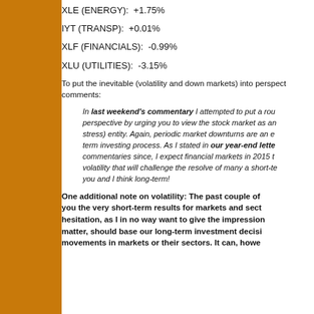XLE (ENERGY):  +1.75%
IYT (TRANSP):  +0.01%
XLF (FINANCIALS):  -0.99%
XLU (UTILITIES):  -3.15%
To put the inevitable (volatility and down markets) into perspective, comments:
In last weekend's commentary I attempted to put a round perspective by urging you to view the stock market as an stress) entity. Again, periodic market downturns are an e term investing process. As I stated in our year-end lette commentaries since, I expect financial markets in 2015 t volatility that will challenge the resolve of many a short-te you and I think long-term!
One additional note on volatility: The past couple of you the very short-term results for markets and sect hesitation, as I in no way want to give the impression matter, should base our long-term investment decisi movements in markets or their sectors. It can, howe